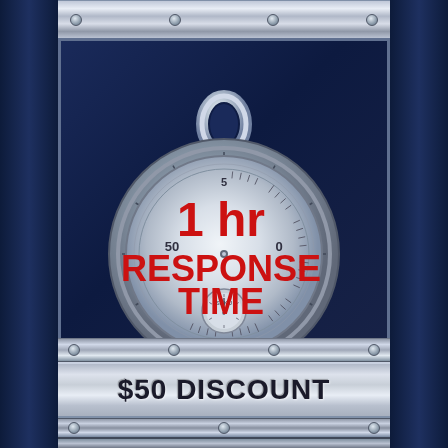[Figure (illustration): Promotional image with a metallic frame on a dark navy blue background. Center shows a glowing stopwatch/chronometer with '1 hr RESPONSE TIME' text in red bold letters overlaid on the watch face. Numbers 50 and 0 visible on the watch dial. Below the image is a metallic silver banner with '$50 DISCOUNT' text in dark bold letters.]
$50 DISCOUNT